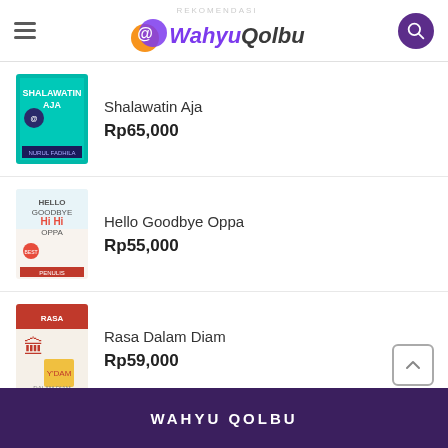WahyuQolbu
Shalawatin Aja
Rp65,000
Hello Goodbye Oppa
Rp55,000
Rasa Dalam Diam
Rp59,000
Perbaiki Shalatmu agar Allah Perbaiki Hidupmu
Rp49,000
WAHYU QOLBU